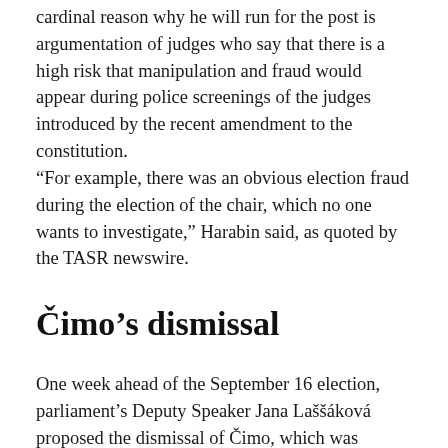cardinal reason why he will run for the post is argumentation of judges who say that there is a high risk that manipulation and fraud would appear during police screenings of the judges introduced by the recent amendment to the constitution. “For example, there was an obvious election fraud during the election of the chair, which no one wants to investigate,” Harabin said, as quoted by the TASR newswire.
Čimo’s dismissal
One week ahead of the September 16 election, parliament’s Deputy Speaker Jana Laššáková proposed the dismissal of Čimo, which was passed with the ruling Smer party’s support, while the